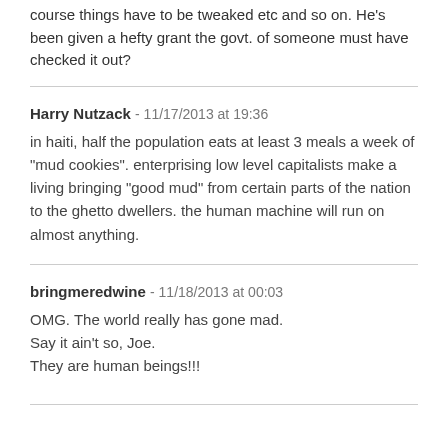course things have to be tweaked etc and so on. He's been given a hefty grant the govt. of someone must have checked it out?
Harry Nutzack - 11/17/2013 at 19:36
in haiti, half the population eats at least 3 meals a week of "mud cookies". enterprising low level capitalists make a living bringing "good mud" from certain parts of the nation to the ghetto dwellers. the human machine will run on almost anything.
bringmeredwine - 11/18/2013 at 00:03
OMG. The world really has gone mad.
Say it ain't so, Joe.
They are human beings!!!